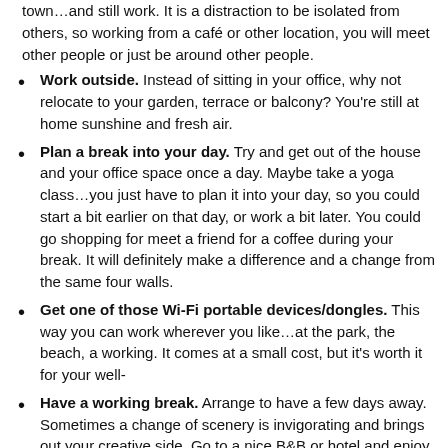town…and still work. It is a distraction to be isolated from others, so working from a café or other location, you will meet other people or just be around other people.
Work outside. Instead of sitting in your office, why not relocate to your garden, terrace or balcony? You're still at home sunshine and fresh air.
Plan a break into your day. Try and get out of the house and your office space once a day. Maybe take a yoga class…you just have to plan it into your day, so you could start a bit earlier on that day, or work a bit later. You could go shopping for meet a friend for a coffee during your break. It will definitely make a difference and a change from the same four walls.
Get one of those Wi-Fi portable devices/dongles. This way you can work wherever you like…at the park, the beach, a working. It comes at a small cost, but it's worth it for your well-
Have a working break. Arrange to have a few days away. Sometimes a change of scenery is invigorating and brings out your creative side. Go to a nice B&B or hotel and enjoy working in a different environment. You could even take a working break in another country, factor in